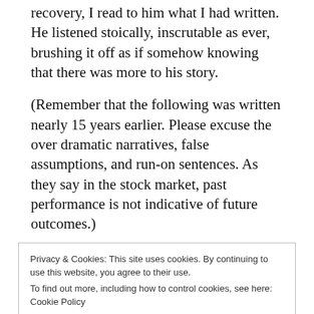recovery, I read to him what I had written. He listened stoically, inscrutable as ever, brushing it off as if somehow knowing that there was more to his story.
(Remember that the following was written nearly 15 years earlier. Please excuse the over dramatic narratives, false assumptions, and run-on sentences. As they say in the stock market, past performance is not indicative of future outcomes.)
When I was in the third grade at Picadome Elementary, our social studies class sponsored a
Privacy & Cookies: This site uses cookies. By continuing to use this website, you agree to their use.
To find out more, including how to control cookies, see here: Cookie Policy
Close and accept
quickly volunteered my father, who after meticulous